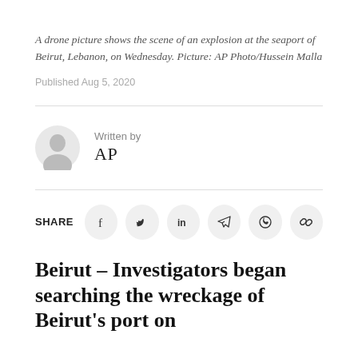A drone picture shows the scene of an explosion at the seaport of Beirut, Lebanon, on Wednesday. Picture: AP Photo/Hussein Malla
Published Aug 5, 2020
Written by
AP
SHARE
Beirut – Investigators began searching the wreckage of Beirut's port on